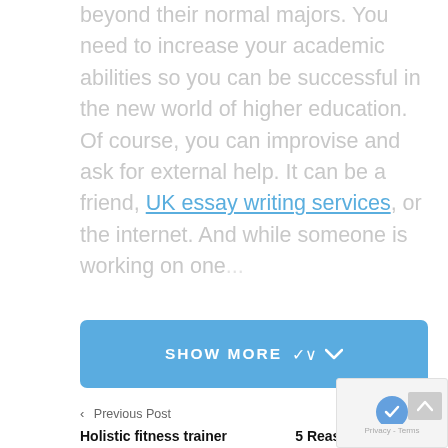beyond their normal majors. You need to increase your academic abilities so you can be successful in the new world of higher education. Of course, you can improvise and ask for external help. It can be a friend, UK essay writing services, or the internet. And while someone is working on one...
[Figure (other): A blue rounded button labeled SHOW MORE with a downward chevron]
< Previous Post
Next Post >
Holistic fitness trainer James Luckman, aka Papa Luckman launches his first fitness bootcamp in Cyprus this autumn.
5 Reasons To Hire a Photo Studio in London